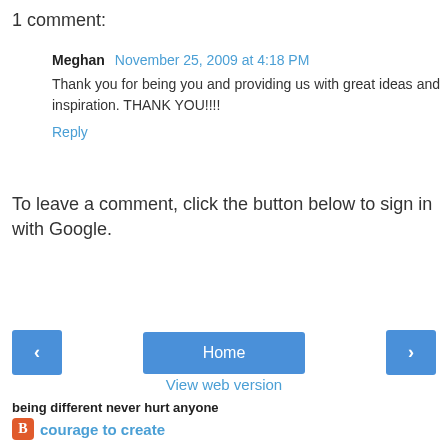1 comment:
Meghan  November 25, 2009 at 4:18 PM
Thank you for being you and providing us with great ideas and inspiration. THANK YOU!!!!
Reply
To leave a comment, click the button below to sign in with Google.
[Figure (other): SIGN IN WITH GOOGLE blue button]
[Figure (other): Navigation bar with left arrow, Home, and right arrow blue buttons]
View web version
being different never hurt anyone
courage to create